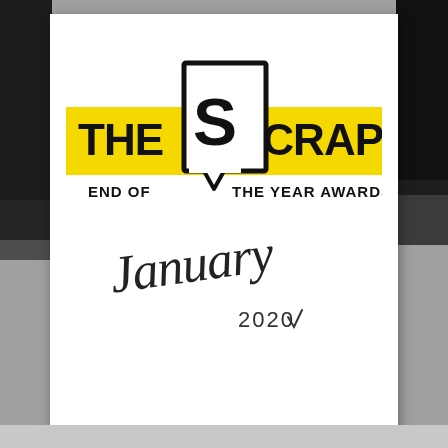[Figure (logo): The Scrap End of The Year Awards logo — yellow horizontal banner with bold black text THE and SCRAP, a speech-bubble square in the center containing a large bold S, and below the banner the text END OF and THE YEAR AWARDS. Below the logo is a cursive/handwritten script reading January 2020.]
META
Log in